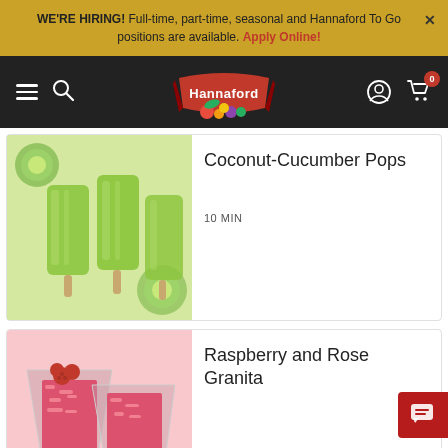WE'RE HIRING! Full-time, part-time, seasonal and Hannaford To Go positions are available. Apply Online!
[Figure (logo): Hannaford supermarket logo with red banner and fruit graphic]
[Figure (photo): Green coconut-cucumber popsicles on sticks with cucumber slices]
Coconut-Cucumber Pops
10 MIN
[Figure (photo): Raspberry and rose granita in glass cups with fresh raspberries]
Raspberry and Rose Granita